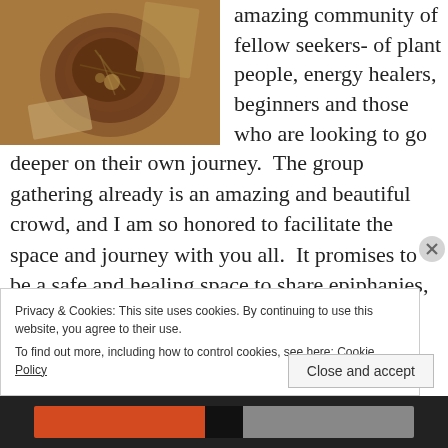[Figure (photo): Overhead view of a cup of herbal tea with flowers and herbs, placed on a wooden surface with some cards or papers nearby. Warm, earthy tones with a vintage feel.]
amazing community of fellow seekers- of plant people, energy healers, beginners and those who are looking to go deeper on their own journey.  The group gathering already is an amazing and beautiful crowd, and I am so honored to facilitate the space and journey with you all.  It promises to be a safe and healing space to share epiphanies, challenges, moments of magic and plant
Privacy & Cookies: This site uses cookies. By continuing to use this website, you agree to their use.
To find out more, including how to control cookies, see here: Cookie Policy
Close and accept